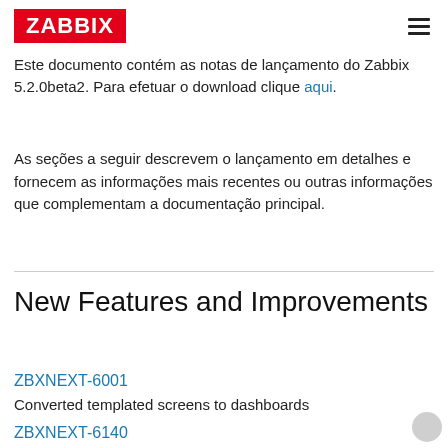ZABBIX
Este documento contém as notas de lançamento do Zabbix 5.2.0beta2. Para efetuar o download clique aqui.
As seções a seguir descrevem o lançamento em detalhes e fornecem as informações mais recentes ou outras informações que complementam a documentação principal.
New Features and Improvements
ZBXNEXT-6001
Converted templated screens to dashboards
ZBXNEXT-6140